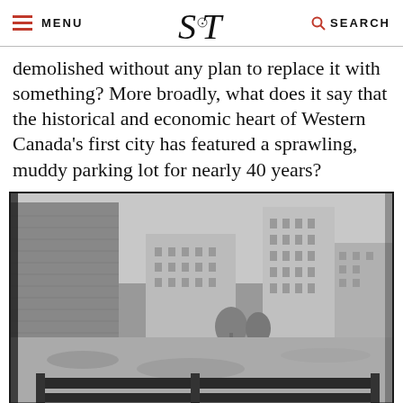MENU | S T (logo) | SEARCH
demolished without any plan to replace it with something? More broadly, what does it say that the historical and economic heart of Western Canada's first city has featured a sprawling, muddy parking lot for nearly 40 years?
[Figure (photo): Black and white photograph showing a muddy vacant parking lot in the foreground with a wooden fence barrier, and historic multi-storey buildings of downtown Winnipeg in the background under an overcast sky. A large brick wall is visible on the left side.]